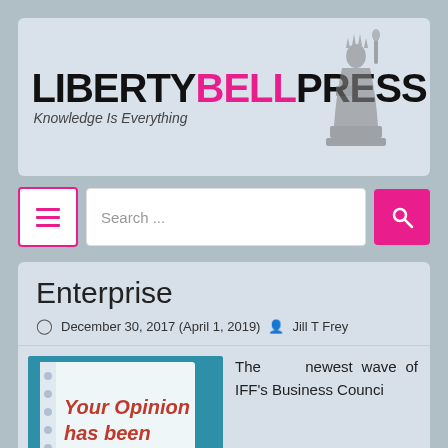[Figure (logo): Liberty Bell Press logo with text LIBERTY in black, BELL in pink, PRESS in black, tagline 'Knowledge Is Everything', and Statue of Liberty illustration]
[Figure (screenshot): Navigation bar with hamburger menu button (pink border), search input field, and pink search button with magnifying glass icon]
Enterprise
December 30, 2017 (April 1, 2019)  Jill T Frey
[Figure (photo): Image of a notebook page with text 'Your Opinion has been' in red bold italic text on a teal/blue background]
The newest wave of IFF's Business Counci...